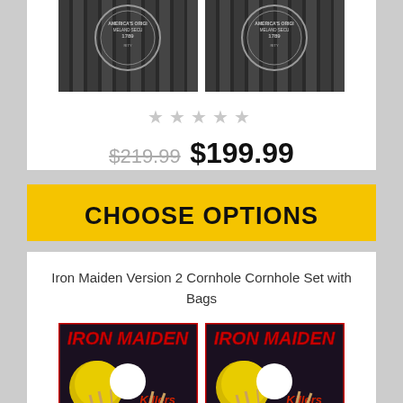[Figure (photo): Two black and white product photos of cornhole boards showing circular seal/badge designs with text 'America's Original Homeland Security']
★★★★★
$219.99 $199.99
CHOOSE OPTIONS
Iron Maiden Version 2 Cornhole Cornhole Set with Bags
[Figure (photo): Two Iron Maiden 'Killers' themed cornhole boards with red Iron Maiden logo text, a white hole, moon, and creature artwork]